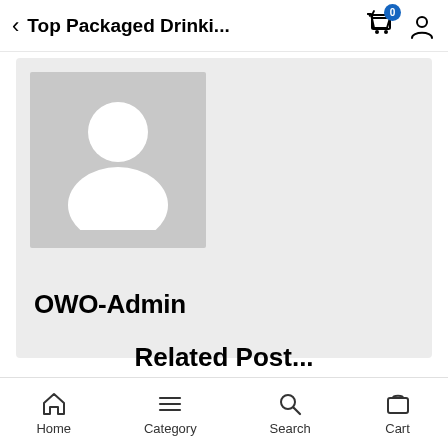Top Packaged Drinki...
[Figure (screenshot): Mobile app profile page showing a default avatar placeholder (grey background with white silhouette person icon) and username OWO-Admin below it]
OWO-Admin
Home  Category  Search  Cart